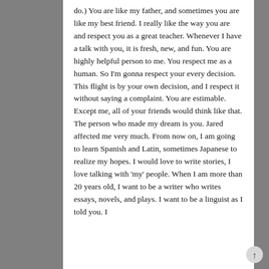do.) You are like my father, and sometimes you are like my best friend. I really like the way you are and respect you as a great teacher. Whenever I have a talk with you, it is fresh, new, and fun. You are highly helpful person to me. You respect me as a human. So I'm gonna respect your every decision. This flight is by your own decision, and I respect it without saying a complaint. You are estimable. Except me, all of your friends would think like that. The person who made my dream is you. Jared affected me very much. From now on, I am going to learn Spanish and Latin, sometimes Japanese to realize my hopes. I would love to write stories, I love talking with 'my' people. When I am more than 20 years old, I want to be a writer who writes essays, novels, and plays. I want to be a linguist as I told you. I